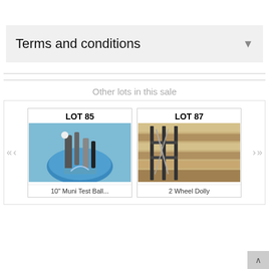Terms and conditions
Other lots in this sale
[Figure (photo): LOT 85 - 10" Muni Test Ball... - photo of tools/pipes in a blue bucket]
[Figure (photo): LOT 87 - 2 Wheel Dolly - photo of a metal wire/grid dolly against wooden background]